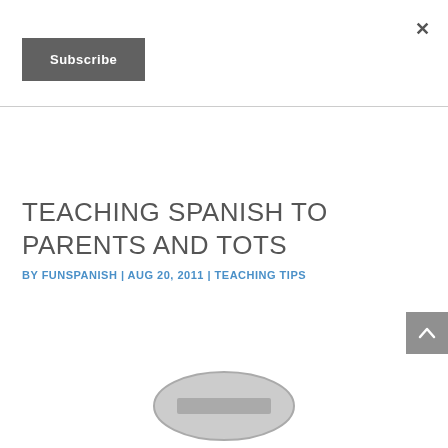×
Subscribe
TEACHING SPANISH TO PARENTS AND TOTS
BY FUNSPANISH | AUG 20, 2011 | TEACHING TIPS
[Figure (other): Gray oval shape with a minus/dash symbol inside, resembling an image placeholder or 'no image' icon]